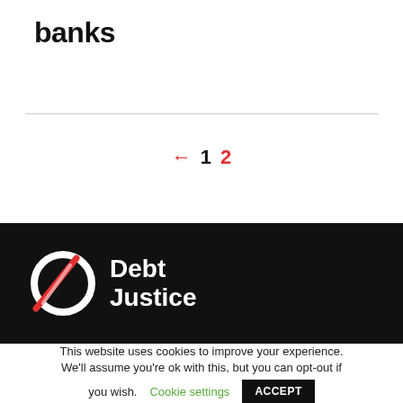banks
← 1 2
[Figure (logo): Debt Justice logo on black background — circular strikethrough symbol in white and red with text 'Debt Justice' in white]
This website uses cookies to improve your experience. We'll assume you're ok with this, but you can opt-out if you wish. Cookie settings ACCEPT